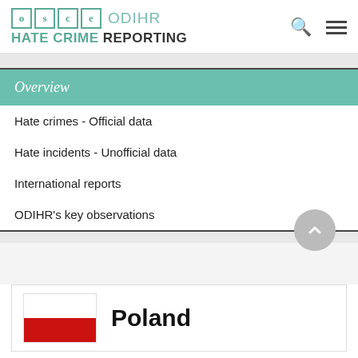OSCE ODIHR HATE CRIME REPORTING
Overview
Hate crimes - Official data
Hate incidents - Unofficial data
International reports
ODIHR's key observations
Poland
[Figure (illustration): Polish national flag — white stripe on top, red stripe on bottom]